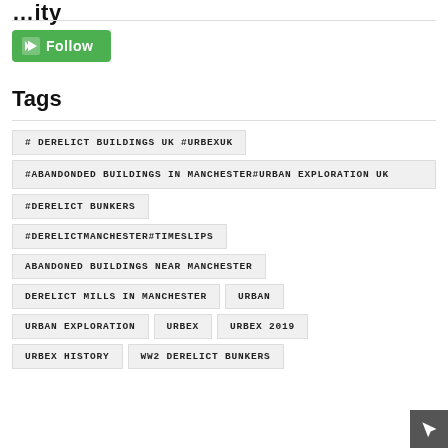…ity
[Figure (other): Green Follow button with diamond/arrow icon]
Tags
# DERELICT BUILDINGS UK #URBEXUK
#ABANDONDED BUILDINGS IN MANCHESTER#URBAN EXPLORATION UK
#DERELICT BUNKERS
#DERELICTMANCHESTER#TIMESLIPS
ABANDONED BUILDINGS NEAR MANCHESTER
DERELICT MILLS IN MANCHESTER
URBAN
URBAN EXPLORATION
URBEX
URBEX 2019
URBEX HISTORY
WW2 DERELICT BUNKERS